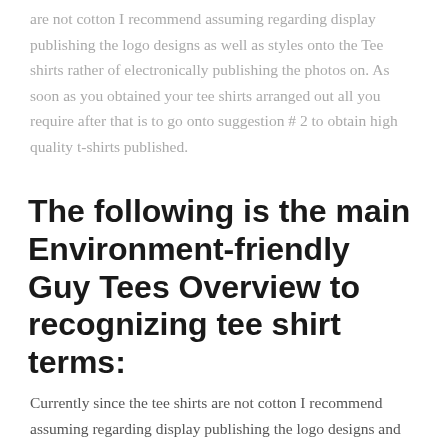are not cotton I recommend assuming regarding display publishing the logo designs as well as styles onto the Tee shirts rather of electronically publishing the photos on. As soon as you obtained your tee shirts arranged out all you require after that is to go onto suggestion # 2 to obtain high quality t-shirts published.
The following is the main Environment-friendly Guy Tees Overview to recognizing tee shirt terms:
Currently since the tee shirts are not cotton I recommend assuming regarding display publishing the logo designs and also layouts onto the Tees rather of electronically publishing the photos on. A basic spindle of single-ply cotton string is made up of 840 backyards of cotton string